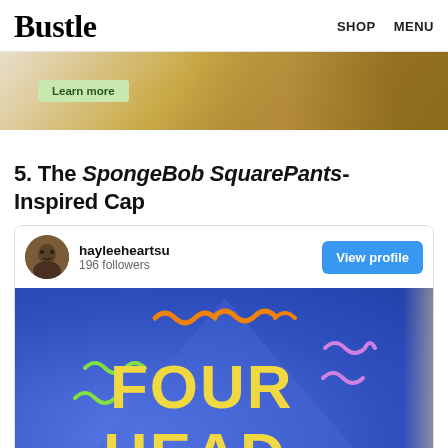Bustle   SHOP   MENU
[Figure (photo): Advertisement banner with gold foil packaging and a Learn more button on a textured background]
5. The SpongeBob SquarePants-Inspired Cap
[Figure (screenshot): Instagram profile embed for hayleeheartsu with 196 followers and a View profile button, showing a blue glitter graduation cap decorated with SpongeBob-style squiggles and yellow letters reading FOUR HEAD]
hayleeheartsu
196 followers